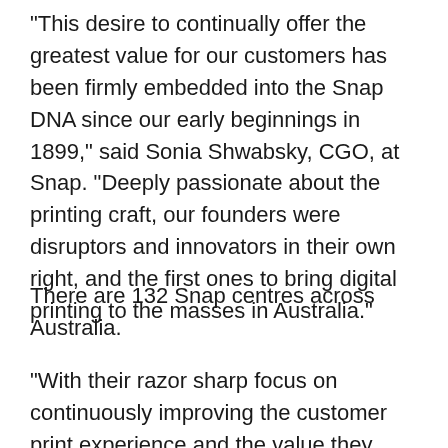"This desire to continually offer the greatest value for our customers has been firmly embedded into the Snap DNA since our early beginnings in 1899," said Sonia Shwabsky, CGO, at Snap. "Deeply passionate about the printing craft, our founders were disruptors and innovators in their own right, and the first ones to bring digital printing to the masses in Australia."
There are 132 Snap centres across Australia.
"With their razor sharp focus on continuously improving the customer print experience and the value they place on superior customer service,